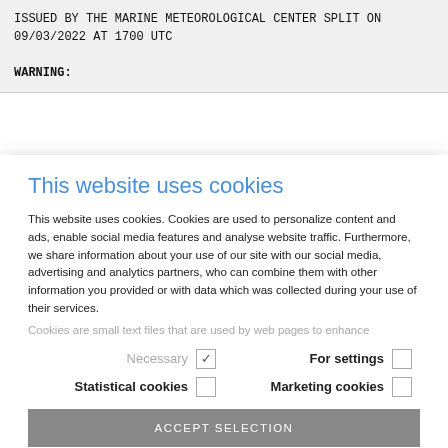ISSUED BY THE MARINE METEOROLOGICAL CENTER SPLIT ON 09/03/2022 AT 1700 UTC

WARNING:
This website uses cookies
This website uses cookies. Cookies are used to personalize content and ads, enable social media features and analyse website traffic. Furthermore, we share information about your use of our site with our social media, advertising and analytics partners, who can combine them with other information you provided or with data which was collected during your use of their services.
Cookies are small text files that are used by web pages to enhance
Necessary (checked) | For settings (unchecked) | Statistical cookies (unchecked) | Marketing cookies (unchecked)
ACCEPT SELECTION
ACCEPT ALL COOKIES